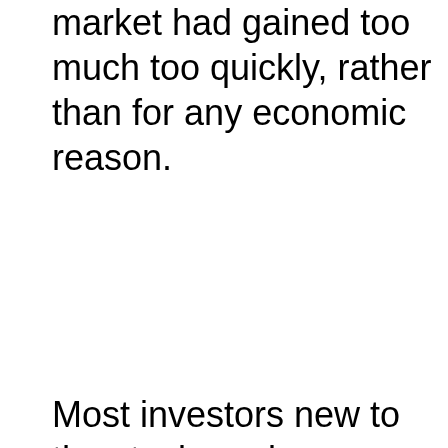market had gained too much too quickly, rather than for any economic reason.
Most investors new to the stock marke